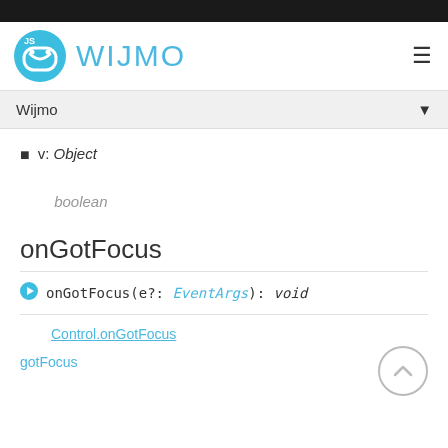Wijmo
v: Object
[Japanese/placeholder text for parameter description]
戻り boolean
onGotFocus
onGotFocus(e?: EventArgs): void
戻り Control.onGotFocus
gotFocus [Japanese description]